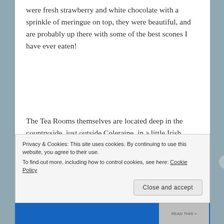were fresh strawberry and white chocolate with a sprinkle of meringue on top, they were beautiful, and are probably up there with some of the best scones I have ever eaten!
The Tea Rooms themselves are located deep in the countryside, just outside Coleraine, in a little Irish Cottage that has been converted, it really is a special little place, especially when the sun shines, very quaint and has a family
Privacy & Cookies: This site uses cookies. By continuing to use this website, you agree to their use.
To find out more, including how to control cookies, see here: Cookie Policy
Close and accept